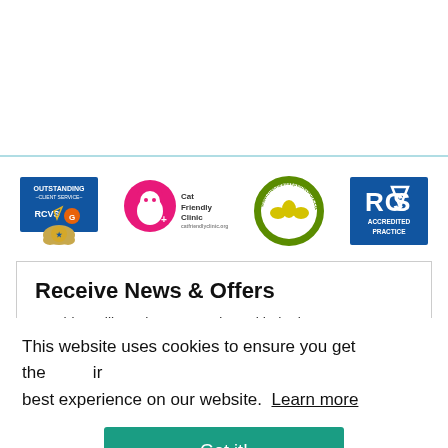[Figure (logo): RCVS Outstanding Client Service badge]
[Figure (logo): Cat Friendly Clinic logo]
[Figure (logo): The Cheshire Pet Network Member badge]
[Figure (logo): RCVS Accredited Practice logo]
Receive News & Offers
Would you like to keep up to date with the latest pet
This website uses cookies to ensure you get the best experience on our website. Learn more
Got it!